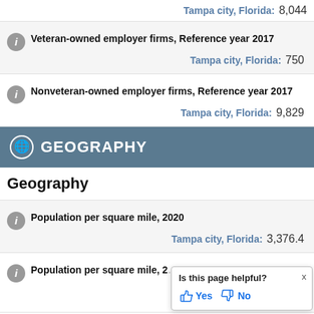Tampa city, Florida: 8,044
Veteran-owned employer firms, Reference year 2017
Tampa city, Florida: 750
Nonveteran-owned employer firms, Reference year 2017
Tampa city, Florida: 9,829
GEOGRAPHY
Geography
Population per square mile, 2020
Tampa city, Florida: 3,376.4
Population per square mile, 2...
Is this page helpful? Yes No